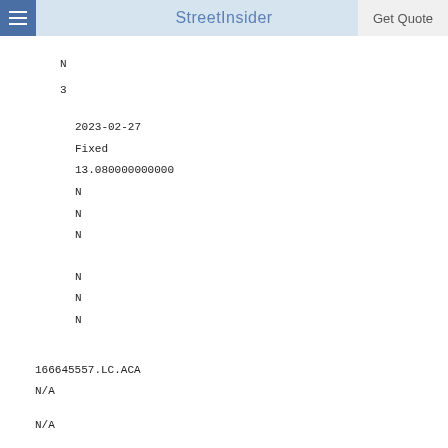StreetInsider | Get Quote
N
3
2023-02-27
Fixed
13.080000000000
N
N
N
N
N
N
166645557.LC.ACA
N/A
N/A